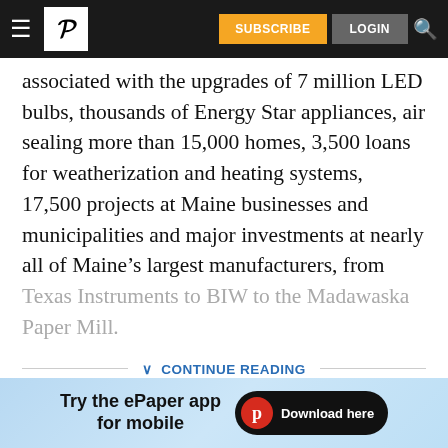Portland Press Herald navigation bar with hamburger menu, logo, SUBSCRIBE and LOGIN buttons, and search icon
associated with the upgrades of 7 million LED bulbs, thousands of Energy Star appliances, air sealing more than 15,000 homes, 3,500 loans for weatherization and heating systems, 17,500 projects at Maine businesses and municipalities and major investments at nearly all of Maine's largest manufacturers, from Texas Instruments to BIW to the Madawaska Paper Mill.
CONTINUE READING
[Figure (screenshot): Advertisement banner: Try the ePaper app for mobile, with Download here button and Portland Press Herald logo]